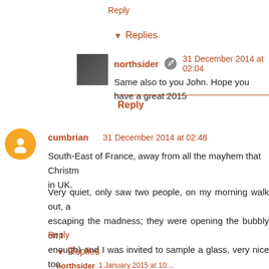Reply
▼ Replies
northsider  31 December 2014 at 02:04
Same also to you John. Hope you have a great 2015
Reply
cumbrian  31 December 2014 at 02:48
South-East of France, away from all the mayhem that Christm... in UK.
Very quiet, only saw two people, on my morning walk out, a escaping the madness; they were opening the bubbly on t enough) and I was invited to sample a glass, very nice too.
Reply
▼ Replies
northsider  1 January 2015 at 10:00